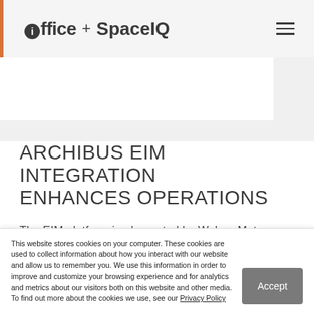ioffice + SpaceIQ
ARCHIBUS EIM INTEGRATION ENHANCES OPERATIONS
The EIM platform implemented by Wuhan Metro addresses a range of management needs, chief among them railway line station management
This website stores cookies on your computer. These cookies are used to collect information about how you interact with our website and allow us to remember you. We use this information in order to improve and customize your browsing experience and for analytics and metrics about our visitors both on this website and other media. To find out more about the cookies we use, see our Privacy Policy